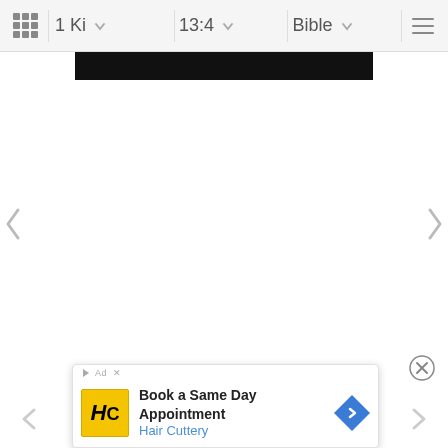1 Ki  13:4  Bible
[Figure (screenshot): Black image strip partially visible at top of content area]
[Figure (screenshot): Left navigation arrow (chevron pointing left) on middle-left edge]
[Figure (screenshot): Right navigation arrow (chevron pointing right) on middle-right edge]
[Figure (screenshot): Close button (circled X) near bottom right]
[Figure (screenshot): Advertisement banner for Hair Cuttery: 'Book a Same Day Appointment' with yellow HC logo and blue diamond arrow]